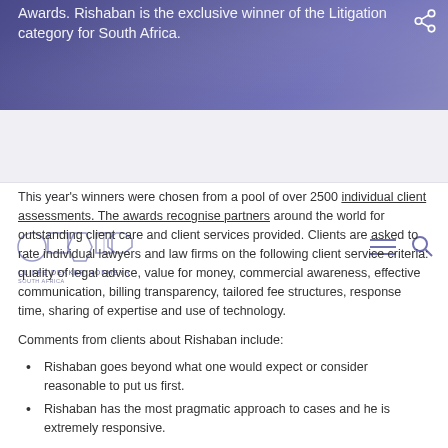Awards. Rishaban is the exclusive winner of the Litigation category for South Africa.
[Figure (logo): Cliffe Dekker Hofmeyr South Africa law firm logo with geometric shapes]
This year's winners were chosen from a pool of over 2500 individual client assessments. The awards recognise partners around the world for outstanding client care and client services provided. Clients are asked to rate individual lawyers and law firms on the following client service criteria: quality of legal advice, value for money, commercial awareness, effective communication, billing transparency, tailored fee structures, response time, sharing of expertise and use of technology.
Comments from clients about Rishaban include:
Rishaban goes beyond what one would expect or consider reasonable to put us first.
Rishaban has the most pragmatic approach to cases and he is extremely responsive.